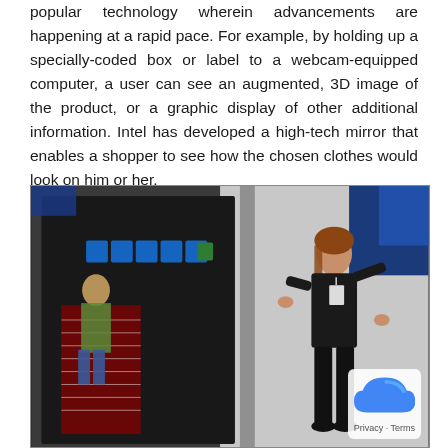popular technology wherein advancements are happening at a rapid pace. For example, by holding up a specially-coded box or label to a webcam-equipped computer, a user can see an augmented, 3D image of the product, or a graphic display of other additional information. Intel has developed a high-tech mirror that enables a shopper to see how the chosen clothes would look on him or her.
[Figure (photo): A woman in black clothing with a conference badge stands next to a large screen displaying an augmented reality virtual fitting room demonstration, showing digital clothing overlaid on a figure.]